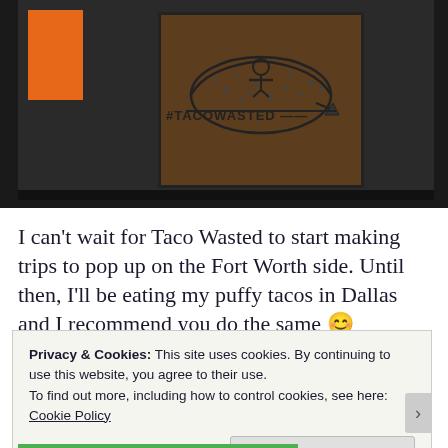[Figure (photo): Photo of a framed sign on a dark table. The sign has a taco illustration and text reading #TACOWASTED. An orange object is visible on the left side of the frame.]
I can't wait for Taco Wasted to start making trips to pop up on the Fort Worth side. Until then, I'll be eating my puffy tacos in Dallas and I recommend you do the same 😊
Privacy & Cookies: This site uses cookies. By continuing to use this website, you agree to their use.
To find out more, including how to control cookies, see here:
Cookie Policy
Close and accept